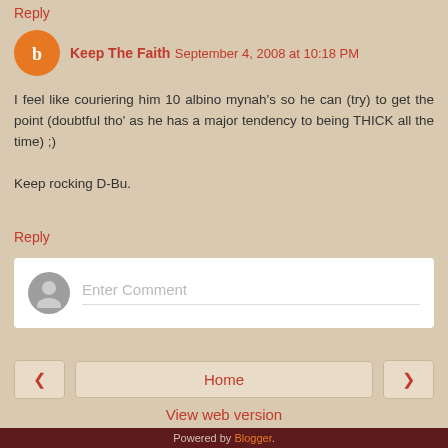Reply
Keep The Faith  September 4, 2008 at 10:18 PM
I feel like couriering him 10 albino mynah's so he can (try) to get the point (doubtful tho' as he has a major tendency to being THICK all the time) ;)

Keep rocking D-Bu.
Reply
Enter Comment
Home
View web version
Powered by Blogger.